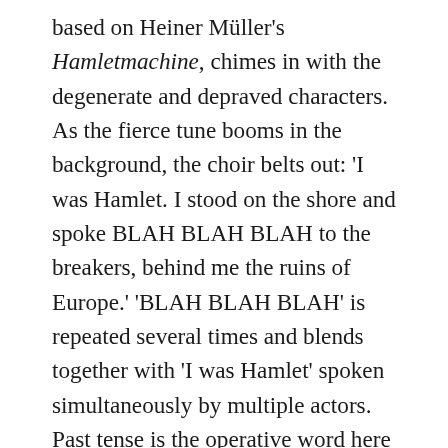based on Heiner Müller's Hamletmachine, chimes in with the degenerate and depraved characters. As the fierce tune booms in the background, the choir belts out: 'I was Hamlet. I stood on the shore and spoke BLAH BLAH BLAH to the breakers, behind me the ruins of Europe.' 'BLAH BLAH BLAH' is repeated several times and blends together with 'I was Hamlet' spoken simultaneously by multiple actors. Past tense is the operative word here – there is no Hamlet at the Old Slaughterhouse but what's left of it, gobbledygook. Kleczewska's Hamlet is a corpse that keeps coming back to life. The play's text is delivered almost in full, and the action unfolds in line with the events described in the play, but this only goes to show that the time of the greatest tragedy is over. This diagnosis is most starkly evident in the degeneration of the characters